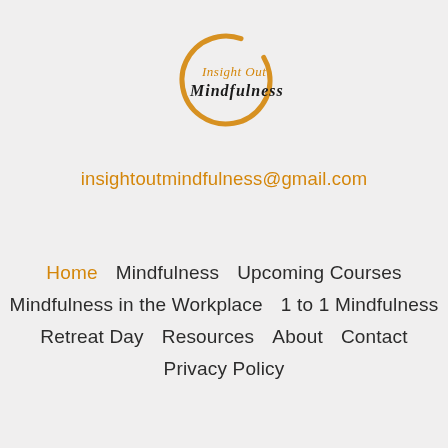[Figure (logo): Insight Out Mindfulness logo — circular orange brushstroke outline with 'Insight Out' text in orange and 'Mindfulness' in black cursive script below]
insightoutmindfulness@gmail.com
Home
Mindfulness
Upcoming Courses
Mindfulness in the Workplace
1 to 1 Mindfulness
Retreat Day
Resources
About
Contact
Privacy Policy